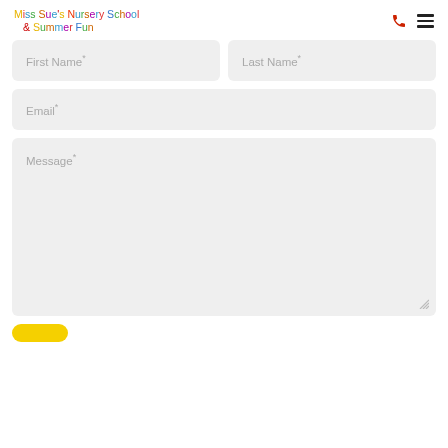Miss Sue's Nursery School & Summer Fun
First Name*
Last Name*
Email*
Message*